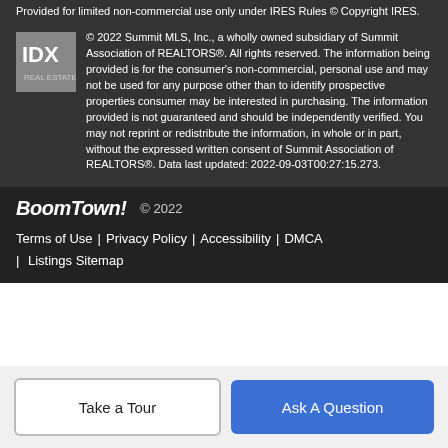Provided for limited non-commercial use only under IRES Rules © Copyright IRES.
© 2022 Summit MLS, Inc., a wholly owned subsidiary of Summit Association of REALTORS®. All rights reserved. The information being provided is for the consumer's non-commercial, personal use and may not be used for any purpose other than to identify prospective properties consumer may be interested in purchasing. The information provided is not guaranteed and should be independently verified. You may not reprint or redistribute the information, in whole or in part, without the expressed written consent of Summit Association of REALTORS®. Data last updated: 2022-09-03T00:27:15.273.
BoomTown! © 2022
Terms of Use | Privacy Policy | Accessibility | DMCA | Listings Sitemap
Take a Tour
Ask A Question